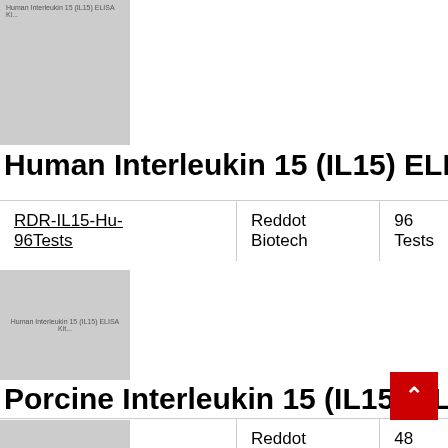[Figure (photo): Gray placeholder image for Human Interleukin 15 (IL15) ELISA Kit product, with small label text]
Human Interleukin 15 (IL15) ELISA
| Catalog | Supplier | Size |
| --- | --- | --- |
| RDR-IL15-Hu-96Tests | Reddot Biotech | 96 Tests |
[Figure (photo): Gray placeholder image for Porcine Interleukin 15 (IL15) ELISA Kit product, with small label text]
Porcine Interleukin 15 (IL15) ELISA
| Catalog | Supplier | Size |
| --- | --- | --- |
| RDR-IL15-p-48Tests | Reddot Biotech | 48 Tests |